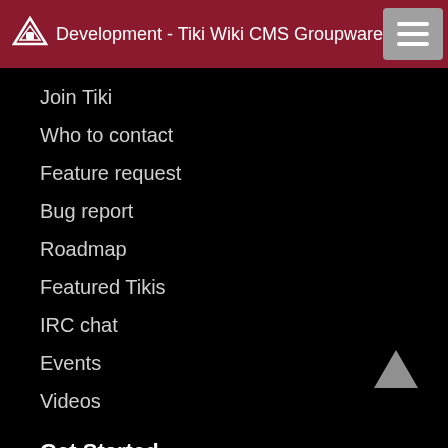Development - Tiki Wiki CMS Groupware
Join Tiki
Who to contact
Feature request
Bug report
Roadmap
Featured Tikis
IRC chat
Events
Videos
Get Started
Download
Install guide
Configure
Documentation
Basics
Installation guide